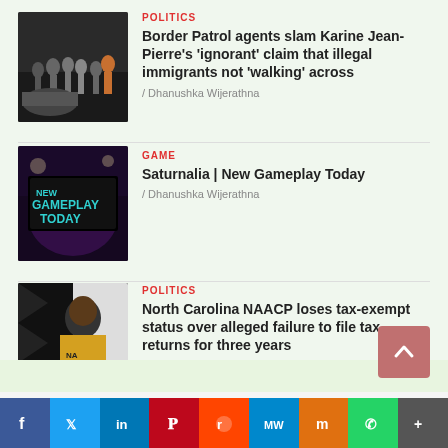[Figure (photo): Group of people standing at night near border wall]
POLITICS
Border Patrol agents slam Karine Jean-Pierre's 'ignorant' claim that illegal immigrants not 'walking' across
/ Dhanushka Wijerathna
[Figure (photo): New Gameplay Today banner with purple background]
GAME
Saturnalia | New Gameplay Today
/ Dhanushka Wijerathna
[Figure (photo): Person in yellow NAACP jacket with black and white pattern]
POLITICS
North Carolina NAACP loses tax-exempt status over alleged failure to file tax returns for three years
/ Dhanushka Wijerathna